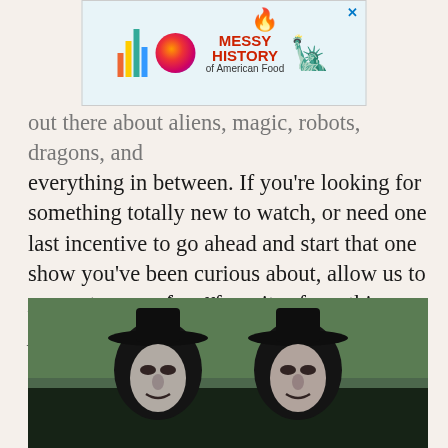[Figure (other): Advertisement banner for 'Messy History of American Food' with colorful bar graph logo, orange sphere, torch/flame icon, Statue of Liberty illustration, and close X button]
out there about aliens, magic, robots, dragons, and everything in between. If you're looking for something totally new to watch, or need one last incentive to go ahead and start that one show you've been curious about, allow us to suggest some of our favorites from this year. If you're in the market for the best sci-fi movies instead, we've got that too.
Like this kind of stuff? Good: Check out our picks for the Best Movies of 2019.
[Figure (photo): Two figures wearing dark hooded cloaks and white masks with facial expressions, standing outdoors with trees in background]